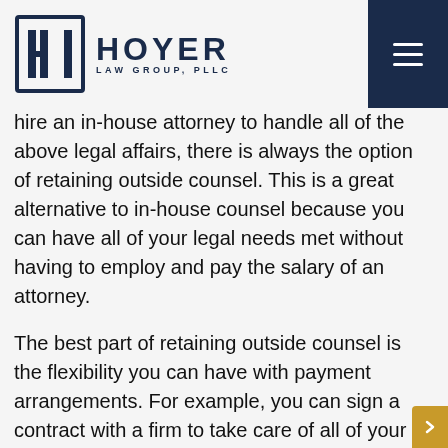Hoyer Law Group, PLLC
hire an in-house attorney to handle all of the above legal affairs, there is always the option of retaining outside counsel. This is a great alternative to in-house counsel because you can have all of your legal needs met without having to employ and pay the salary of an attorney.
The best part of retaining outside counsel is the flexibility you can have with payment arrangements. For example, you can sign a contract with a firm to take care of all of your legal needs for a fixed fee, or you can come to an agreement to use them for your legal needs on an